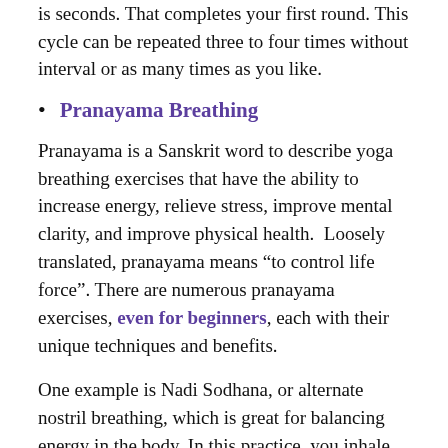is seconds. That completes your first round. This cycle can be repeated three to four times without interval or as many times as you like.
Pranayama Breathing
Pranayama is a Sanskrit word to describe yoga breathing exercises that have the ability to increase energy, relieve stress, improve mental clarity, and improve physical health.  Loosely translated, pranayama means “to control life force”. There are numerous pranayama exercises, even for beginners, each with their unique techniques and benefits.
One example is Nadi Sodhana, or alternate nostril breathing, which is great for balancing energy in the body. In this practice, you inhale and exhale alternately through the right nostril and left nostril in a specific pattern. A demonstration on how to practice this breathing can be seen here by The Art of